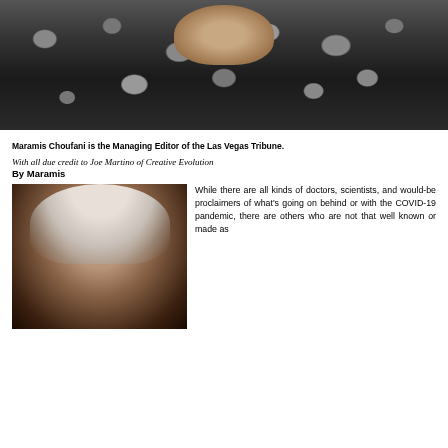[Figure (photo): Close-up photo of a woman wearing a black and white patterned scarf/head covering, face partially covered]
Maramis Choufani is the Managing Editor of the Las Vegas Tribune.
With all due credit to Joe Martino of Creative Evolution
By Maramis
[Figure (photo): Portrait photo of an elderly woman with curly white/grey hair, smiling slightly, dark background]
While there are all kinds of doctors, scientists, and would-be proclaimers of what's going on behind or with the COVID-19 pandemic, there are others who are not that well known or made as